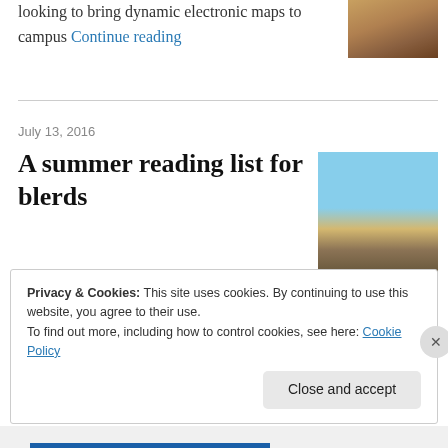looking to bring dynamic electronic maps to campus Continue reading
[Figure (photo): Portrait photo of a person]
July 13, 2016
A summer reading list for blerds
[Figure (photo): Summer scene with a hat and book on a sunny day]
Who says a well written book about science can't be a relaxing read on a summer day? Continue reading
Privacy & Cookies: This site uses cookies. By continuing to use this website, you agree to their use. To find out more, including how to control cookies, see here: Cookie Policy
Close and accept